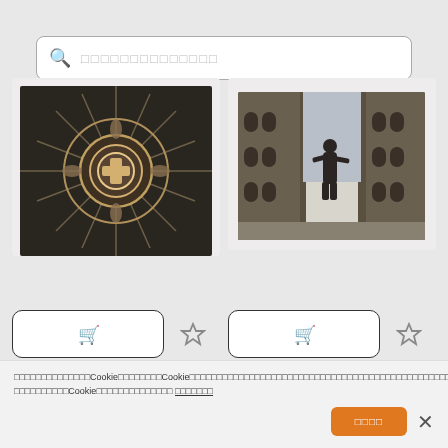[Figure (screenshot): Search bar with magnifying glass icon and placeholder text in CJK characters]
[Figure (photo): Gothic art medallion ceiling ornament, Spanish gothic architecture]
[Figure (photo): Street view looking up at buildings in Florence Italy with a statue silhouette]
ARTE GOTICO.
ARTE GOTICO. ESPAÑA. CLAVE
ITALIA.
ITALIA. FLORENCIA. Vista parcial
คุณสามารถดูCookieนโยบายCookieของเราได้ที่นี่ เราใช้ Cookie เพื่อปรับปรุงบริการของเรา โปรดยืนยันการยอมรับCookieของคุณก่อนเข้าชมเว็บไซต์ ข้อตกลงการใช้
[Figure (screenshot): Accept cookies button (orange) and close X button]